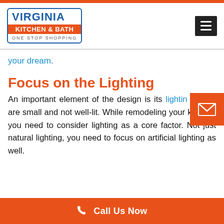[Figure (logo): Virginia Kitchen & Bath One Stop Shopping logo with blue border and orange banner]
your dream.
Focus on the Lighting
An important element of the design is its lighting. Most s are small and not well-lit. While remodeling your kitchen, you need to consider lighting as a core factor. Not just natural lighting, you need to focus on artificial lighting as well.
Call Us Now